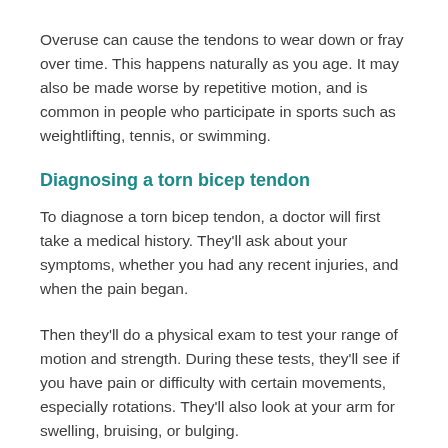Overuse can cause the tendons to wear down or fray over time. This happens naturally as you age. It may also be made worse by repetitive motion, and is common in people who participate in sports such as weightlifting, tennis, or swimming.
Diagnosing a torn bicep tendon
To diagnose a torn bicep tendon, a doctor will first take a medical history. They'll ask about your symptoms, whether you had any recent injuries, and when the pain began.
Then they'll do a physical exam to test your range of motion and strength. During these tests, they'll see if you have pain or difficulty with certain movements, especially rotations. They'll also look at your arm for swelling, bruising, or bulging.